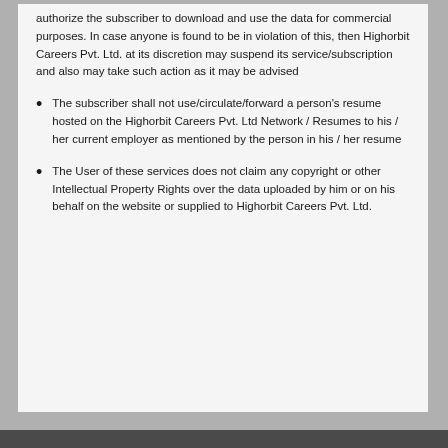authorize the subscriber to download and use the data for commercial purposes. In case anyone is found to be in violation of this, then Highorbit Careers Pvt. Ltd. at its discretion may suspend its service/subscription and also may take such action as it may be advised
The subscriber shall not use/circulate/forward a person's resume hosted on the Highorbit Careers Pvt. Ltd Network / Resumes to his / her current employer as mentioned by the person in his / her resume
The User of these services does not claim any copyright or other Intellectual Property Rights over the data uploaded by him or on his behalf on the website or supplied to Highorbit Careers Pvt. Ltd.